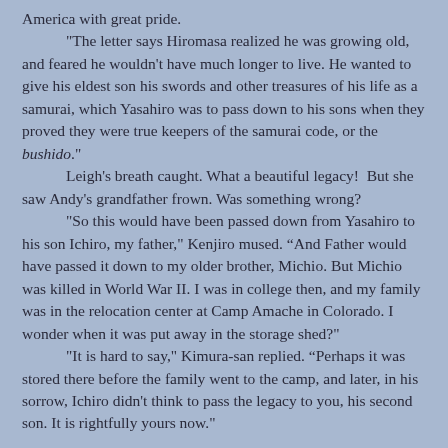America with great pride. "The letter says Hiromasa realized he was growing old, and feared he wouldn't have much longer to live. He wanted to give his eldest son his swords and other treasures of his life as a samurai, which Yasahiro was to pass down to his sons when they proved they were true keepers of the samurai code, or the bushido." Leigh's breath caught. What a beautiful legacy!  But she saw Andy's grandfather frown. Was something wrong? "So this would have been passed down from Yasahiro to his son Ichiro, my father," Kenjiro mused. “And Father would have passed it down to my older brother, Michio. But Michio was killed in World War II. I was in college then, and my family was in the relocation center at Camp Amache in Colorado. I wonder when it was put away in the storage shed?" "It is hard to say," Kimura-san replied. “Perhaps it was stored there before the family went to the camp, and later, in his sorrow, Ichiro didn't think to pass the legacy to you, his second son. It is rightfully yours now."